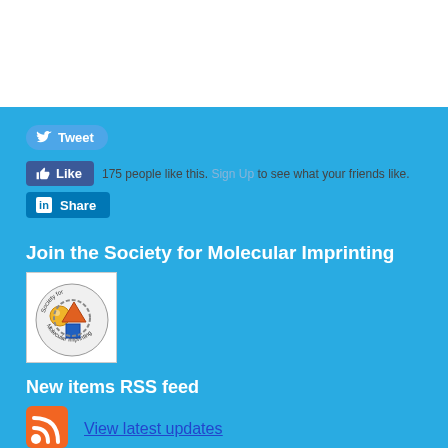[Figure (other): Social media buttons: Tweet (Twitter), Like (Facebook) with '175 people like this. Sign Up to see what your friends like.', and LinkedIn Share button]
Join the Society for Molecular Imprinting
[Figure (logo): Society for Molecular Imprinting logo — circular logo with molecular shapes (sphere, triangle, square) and text 'Society for Molecular Imprinting']
New items RSS feed
[Figure (logo): RSS feed orange icon]
View latest updates
Sign-up for e-mail updates:
Choose between receiving an occasional newsletter or more frequent e-mail alerts.
Click here to go to the sign-up page.